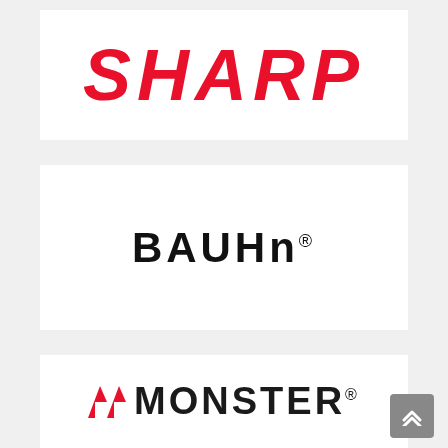[Figure (logo): SHARP logo in bold italic red text on white background]
[Figure (logo): BAUHN logo in bold black text with registered trademark symbol on white background]
[Figure (logo): MONSTER logo with red icon marks and bold black text with registered trademark symbol on white background]